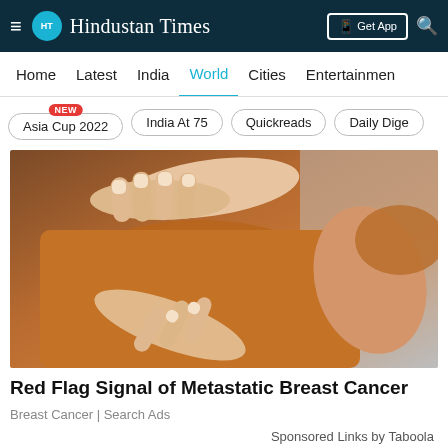Hindustan Times
Home  Latest  India  World  Cities  Entertainment
Asia Cup 2022  India At 75  Quickreads  Daily Dige
[Figure (photo): Close-up photo of a person in an orange/brown shirt with hands touching their side/chest area, against a gray background]
Red Flag Signal of Metastatic Breast Cancer
Breast Cancer | Search Ads
Sponsored Links by Taboola